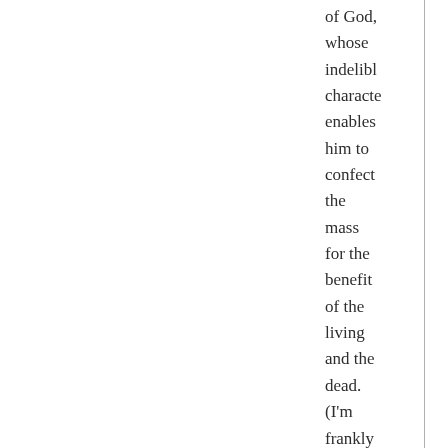of God, whose indelible character enables him to confect the mass for the benefit of the living and the dead. (I'm frankly rehashing seminary